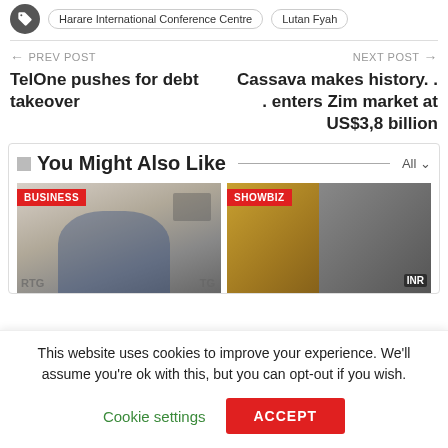Harare International Conference Centre   Lutan Fyah
← PREV POST
TelOne pushes for debt takeover
NEXT POST →
Cassava makes history. . . enters Zim market at US$3,8 billion
You Might Also Like
[Figure (photo): Business card showing man in blue suit at RTG backdrop with BUSINESS label]
[Figure (photo): Showbiz card showing cityscape and person with SHOWBIZ label]
This website uses cookies to improve your experience. We'll assume you're ok with this, but you can opt-out if you wish.
Cookie settings   ACCEPT